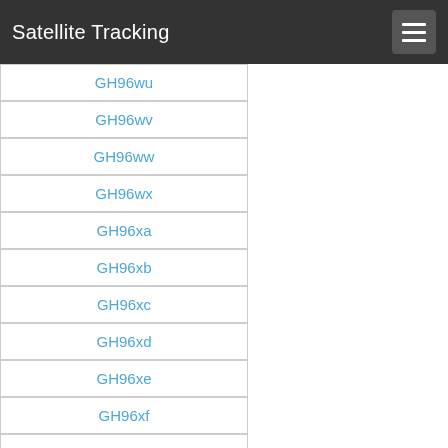Satellite Tracking
GH96wu
GH96wv
GH96ww
GH96wx
GH96xa
GH96xb
GH96xc
GH96xd
GH96xe
GH96xf
GH96xg
GH96xh
GH96xi
GH96xj
GH96xk
GH96xl
GH96xm
GH96xn